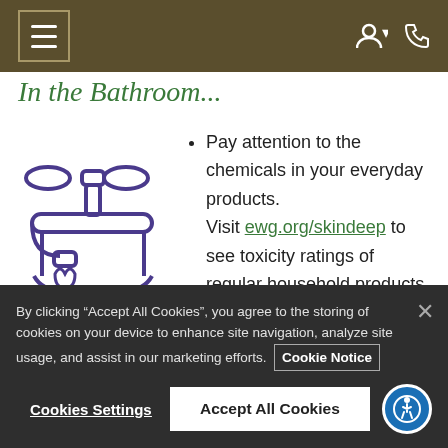Navigation header with hamburger menu and account/phone icons
In the Bathroom...
[Figure (illustration): Purple line-art illustration of a bathroom faucet with water drop dripping]
Pay attention to the chemicals in your everyday products. Visit ewg.org/skindeep to see toxicity ratings of regular household products. Visit epa.gov/greenerproducts to identify greener products and
By clicking "Accept All Cookies", you agree to the storing of cookies on your device to enhance site navigation, analyze site usage, and assist in our marketing efforts. Cookie Notice
Cookies Settings    Accept All Cookies